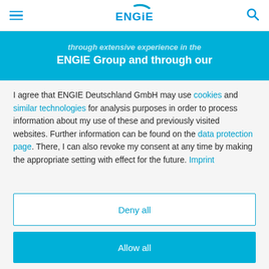ENGIE
through extensive experience in the ENGIE Group and through our
I agree that ENGIE Deutschland GmbH may use cookies and similar technologies for analysis purposes in order to process information about my use of these and previously visited websites. Further information can be found on the data protection page. There, I can also revoke my consent at any time by making the appropriate setting with effect for the future. Imprint